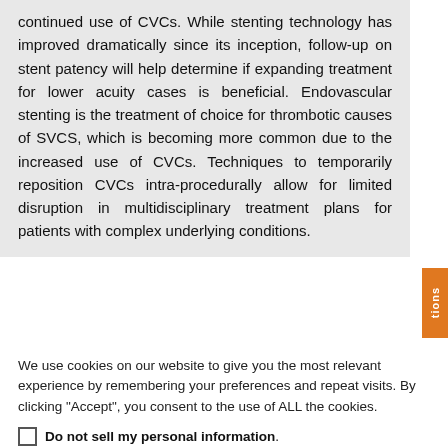continued use of CVCs. While stenting technology has improved dramatically since its inception, follow-up on stent patency will help determine if expanding treatment for lower acuity cases is beneficial. Endovascular stenting is the treatment of choice for thrombotic causes of SVCS, which is becoming more common due to the increased use of CVCs. Techniques to temporarily reposition CVCs intra-procedurally allow for limited disruption in multidisciplinary treatment plans for patients with complex underlying conditions.
We use cookies on our website to give you the most relevant experience by remembering your preferences and repeat visits. By clicking "Accept", you consent to the use of ALL the cookies.
Do not sell my personal information.
Cookie Settings  Accept